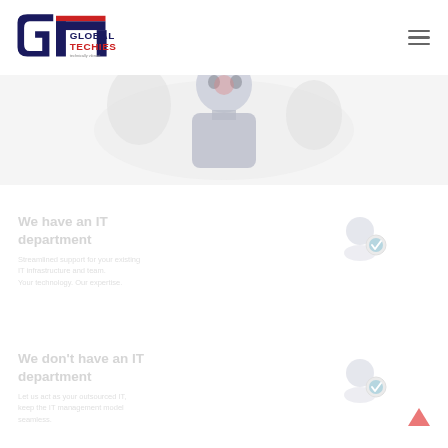[Figure (logo): Global Techies logo with stylized G and T lettermark in dark navy and red, with text 'GLOBAL TECHIES' and tagline 'technically vibrant']
[Figure (illustration): Faded illustration of a person/robot figure in the center of the page against a light gray band background]
We have an IT department
Short descriptive text about having an IT department (faded/light gray text)
[Figure (illustration): Small avatar icon with checkmark badge, top section]
We don't have an IT department
Short descriptive text about not having an IT department and IT management solutions
[Figure (illustration): Small avatar icon with checkmark badge, bottom section]
[Figure (illustration): Red upward arrow button in bottom right corner]